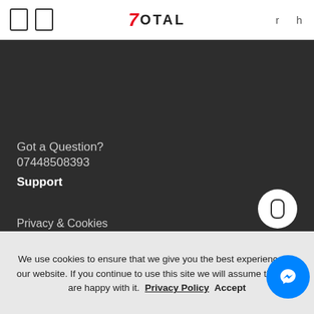7OTAL — navigation bar with logo and icons
[Figure (logo): 7OTAL logo large banner on dark background with red slash and white text]
Got a Question?
07448508393
Support
Privacy & Cookies
About us
Contact Us
My Account
Privacy Policy
Terms
We use cookies to ensure that we give you the best experience on our website. If you continue to use this site we will assume that you are happy with it.  Privacy Policy  Accept